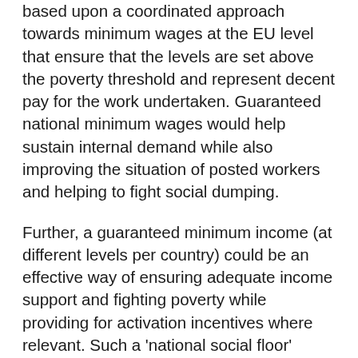based upon a coordinated approach towards minimum wages at the EU level that ensure that the levels are set above the poverty threshold and represent decent pay for the work undertaken. Guaranteed national minimum wages would help sustain internal demand while also improving the situation of posted workers and helping to fight social dumping.
Further, a guaranteed minimum income (at different levels per country) could be an effective way of ensuring adequate income support and fighting poverty while providing for activation incentives where relevant. Such a 'national social floor' would also indirectly define the minimum performance expected from national automatic fiscal stabilisers in times of economic crisis